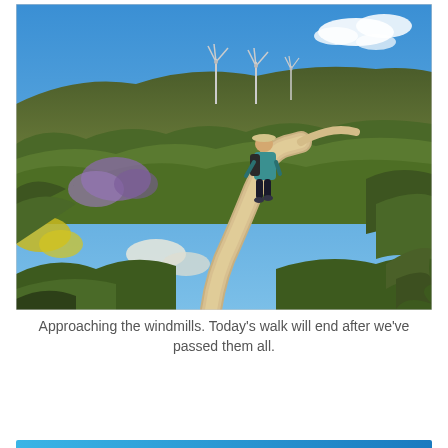[Figure (photo): A hiker with a backpack and hat walking along a narrow sandy trail through low coastal scrubland and flowering plants. Wind turbines are visible on the hilltop in the background against a bright blue sky with a few white clouds.]
Approaching the windmills. Today's walk will end after we've passed them all.